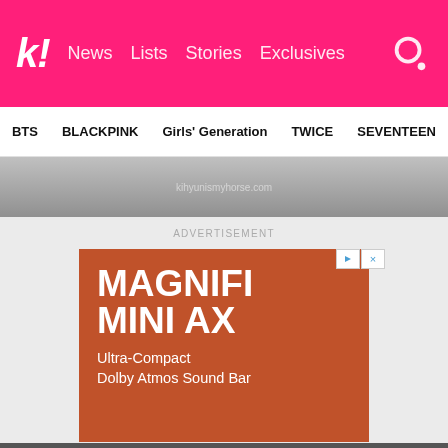k! News | Lists | Stories | Exclusives
BTS | BLACKPINK | Girls' Generation | TWICE | SEVENTEEN
[Figure (photo): Partial photo strip showing a person wearing a white t-shirt, black and white image with watermark text]
ADVERTISEMENT
[Figure (other): Advertisement banner for MAGNIFI MINI AX - Ultra-Compact Dolby Atmos Sound Bar, orange/rust colored background with white text, with play and close buttons in top right]